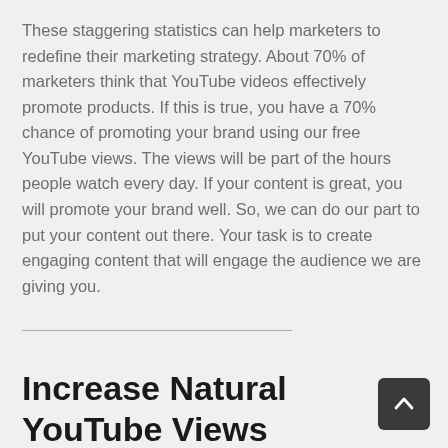These staggering statistics can help marketers to redefine their marketing strategy. About 70% of marketers think that YouTube videos effectively promote products. If this is true, you have a 70% chance of promoting your brand using our free YouTube views. The views will be part of the hours people watch every day. If your content is great, you will promote your brand well. So, we can do our part to put your content out there. Your task is to create engaging content that will engage the audience we are giving you.
Increase Natural YouTube Views